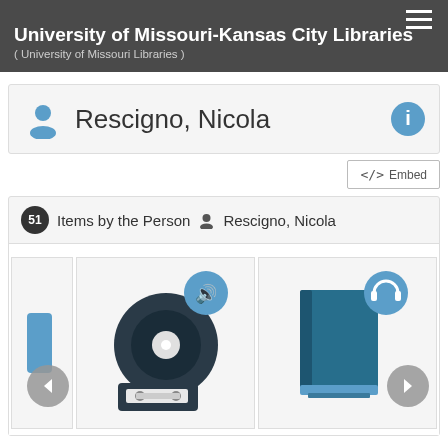University of Missouri-Kansas City Libraries ( University of Missouri Libraries )
Rescigno, Nicola
</> Embed
51 Items by the Person Rescigno, Nicola
[Figure (screenshot): Grid of library items showing audio/music media icons and book icons with navigation arrows]